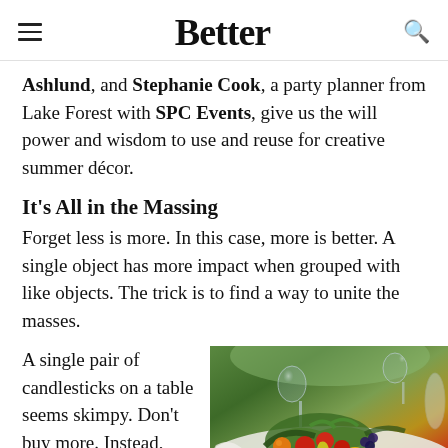Better
Ashlund, and Stephanie Cook, a party planner from Lake Forest with SPC Events, give us the will power and wisdom to use and reuse for creative summer décor.
It's All in the Massing
Forget less is more. In this case, more is better. A single object has more impact when grouped with like objects. The trick is to find a way to unite the masses.
A single pair of candlesticks on a table seems skimpy. Don't buy more. Instead,
[Figure (photo): Outdoor garden table set with glassware, plates, and a colorful centerpiece of mixed fruits including tomatoes, pears, and peppers with green foliage, on a white tablecloth.]